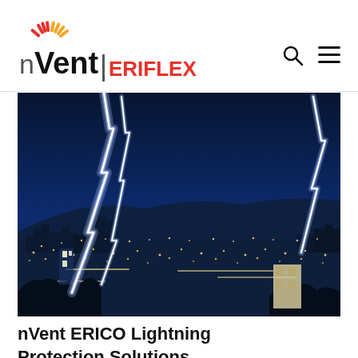[Figure (logo): nVent ERIFLEX logo with sun/spark icon on left and vertical bar separating brand name]
[Figure (photo): Night cityscape with dramatic lightning bolts striking over illuminated city and hills in background. Dark blue sky with bright white lightning.]
nVent ERICO Lightning Protection Solutions